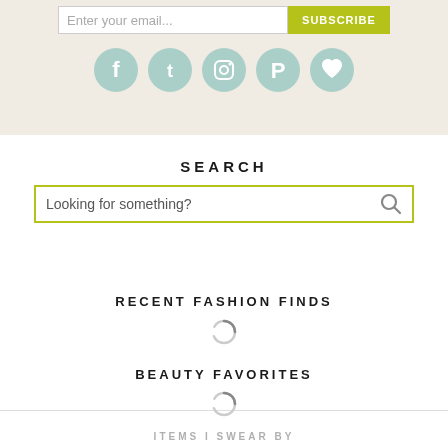[Figure (screenshot): Email subscription bar with text input 'Enter your email...' and yellow-green SUBSCRIBE button, followed by five social media circular icons (Facebook, Twitter, Instagram, Pinterest, heart/Bloglovin) in muted teal color on a beige background.]
SEARCH
[Figure (screenshot): Search input box with yellow-green border containing placeholder text 'Looking for something?' and a magnifying glass icon on the right.]
RECENT FASHION FINDS
[Figure (other): Loading spinner icon (circular arrow)]
BEAUTY FAVORITES
[Figure (other): Loading spinner icon (circular arrow)]
ITEMS I SWEAR BY